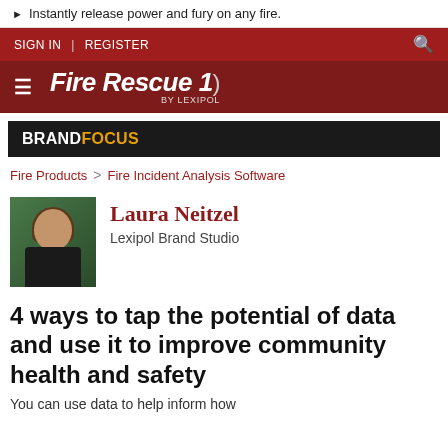► Instantly release power and fury on any fire.
SIGN IN | REGISTER
FIRERESCUE1 BY LEXIPOL
BRANDFOCUS
Fire Products > Fire Incident Analysis Software
Laura Neitzel
Lexipol Brand Studio
4 ways to tap the potential of data and use it to improve community health and safety
You can use data to help inform how...